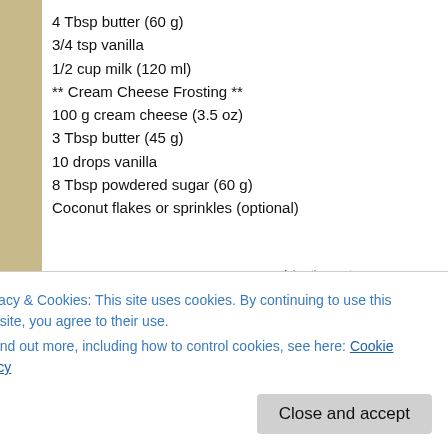4 Tbsp butter (60 g)
3/4 tsp vanilla
1/2 cup milk (120 ml)
** Cream Cheese Frosting **
100 g cream cheese (3.5 oz)
3 Tbsp butter (45 g)
10 drops vanilla
8 Tbsp powdered sugar (60 g)
Coconut flakes or sprinkles (optional)
[Figure (other): Advertisement box reading 'Professionally designed sites in less than a week']
Directions
Privacy & Cookies: This site uses cookies. By continuing to use this website, you agree to their use. To find out more, including how to control cookies, see here: Cookie Policy
the flour mixture and the milk into the butter and egg mixture. Beat unti